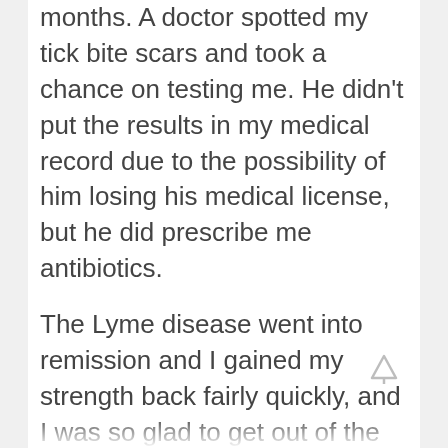months. A doctor spotted my tick bite scars and took a chance on testing me. He didn't put the results in my medical record due to the possibility of him losing his medical license, but he did prescribe me antibiotics.
The Lyme disease went into remission and I gained my strength back fairly quickly, and I was so glad to get out of the wheelchair that the small joint pain in my knees was ignored. My doctor told me I'd be fine, after all. Any joint paint I had were only residual issues that could get